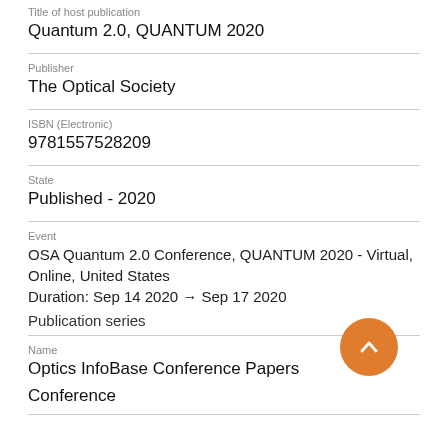Title of host publication
Quantum 2.0, QUANTUM 2020
Publisher
The Optical Society
ISBN (Electronic)
9781557528209
State
Published - 2020
Event
OSA Quantum 2.0 Conference, QUANTUM 2020 - Virtual, Online, United States
Duration: Sep 14 2020 → Sep 17 2020
Publication series
Name
Optics InfoBase Conference Papers
Conference